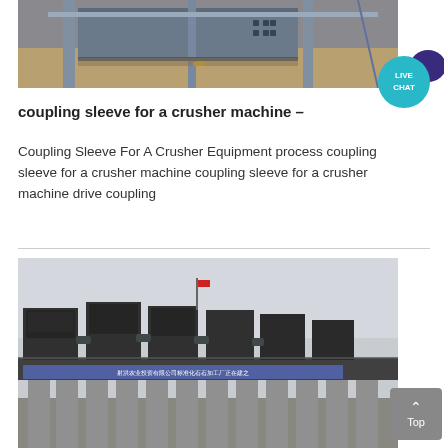[Figure (photo): Industrial crusher machine equipment at a facility, showing metal frames, conveyor structures with sandy/dusty surfaces indoors.]
coupling sleeve for a crusher machine –
Coupling Sleeve For A Crusher Equipment process coupling sleeve for a crusher machine coupling sleeve for a crusher machine drive coupling
[Figure (photo): Large industrial crushing plant facility exterior with multiple crusher units on concrete pillars, a Chinese language banner across the front, overcast sky.]